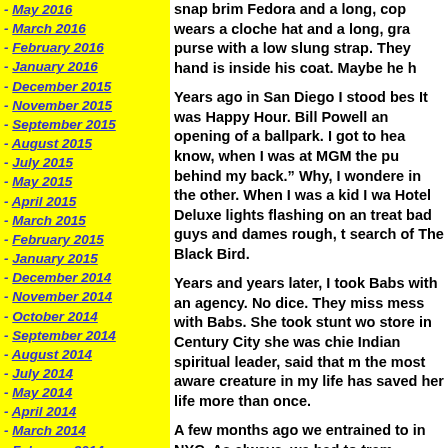- May 2016
- March 2016
- February 2016
- January 2016
- December 2015
- November 2015
- September 2015
- August 2015
- July 2015
- May 2015
- April 2015
- March 2015
- February 2015
- January 2015
- December 2014
- November 2014
- October 2014
- September 2014
- August 2014
- July 2014
- May 2014
- April 2014
- March 2014
- February 2014
- January 2014
- December 2013
snap brim Fedora and a long, cop wears a cloche hat and a long, gray purse with a low slung strap. They hand is inside his coat. Maybe he h
Years ago in San Diego I stood bes It was Happy Hour. Bill Powell an opening of a ballpark. I got to hea know, when I was at MGM the pu behind my back.” Why, I wondere in the other. When I was a kid I wa Hotel Deluxe lights flashing on an treat bad guys and dames rough, t search of The Black Bird.
Years and years later, I took Babs with an agency. No dice. They mis mess with Babs. She took stunt wo store in Century City she was chi Indian spiritual leader, said that m the most aware creature in my lif has saved her life more than once.
A few months ago we entrained to in NYC. As always, we had to tram Jamaica Station—we can put a m